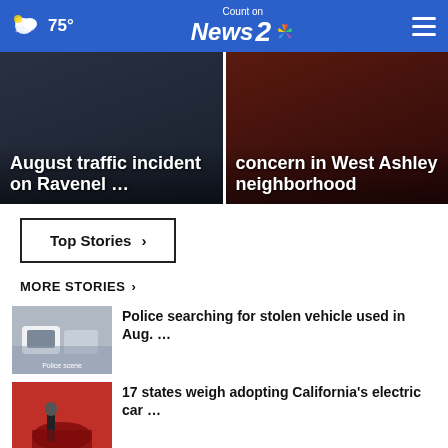75° Count on News 2
[Figure (screenshot): Featured news card left: August traffic incident on Ravenel ...]
[Figure (screenshot): Featured news card right: concern in West Ashley neighborhood]
Top Stories ›
MORE STORIES ›
[Figure (photo): Thumbnail of parked cars - Police searching story]
Police searching for stolen vehicle used in Aug. ...
[Figure (photo): Thumbnail of EV charging - 17 states weigh adopting story]
17 states weigh adopting California's electric car ...
[Figure (photo): Thumbnail of sky - Crash threat over Mississippi skies story]
Crash threat over Mississippi skies ends with pilot's ...